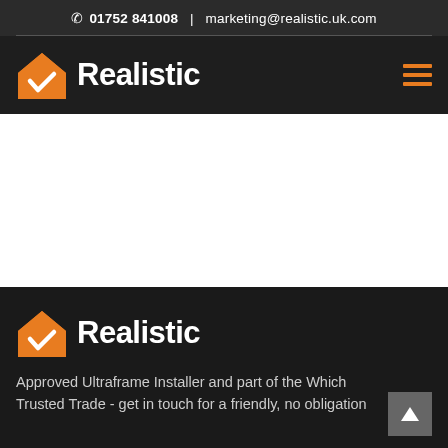📞 01752 841008  |  marketing@realistic.uk.com
[Figure (logo): Realistic logo: orange house with white checkmark, bold white text 'Realistic']
[Figure (other): Large white banner/hero image area (content not visible)]
[Figure (logo): Realistic logo footer: orange house with white checkmark, bold white text 'Realistic']
Approved Ultraframe Installer and part of the Which Trusted Trade - get in touch for a friendly, no obligation